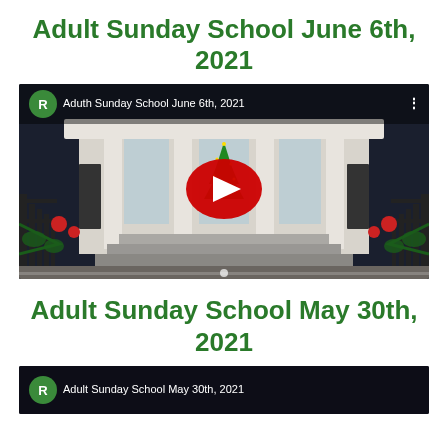Adult Sunday School June 6th, 2021
[Figure (screenshot): YouTube video thumbnail showing a church building exterior decorated for Christmas with a lit Christmas tree, garland, holiday decorations, and iron gates. The video is titled 'Aduth Sunday School June 6th, 2021' with a green R avatar and YouTube play button overlay.]
Adult Sunday School May 30th, 2021
[Figure (screenshot): Partial YouTube video thumbnail (cropped at bottom) showing the beginning of another video with a green R avatar, partially visible title text.]